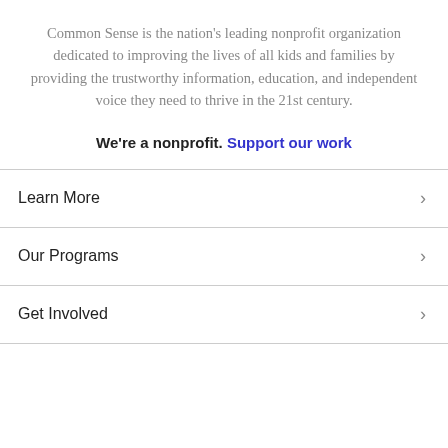Common Sense is the nation's leading nonprofit organization dedicated to improving the lives of all kids and families by providing the trustworthy information, education, and independent voice they need to thrive in the 21st century.
We're a nonprofit. Support our work
Learn More
Our Programs
Get Involved